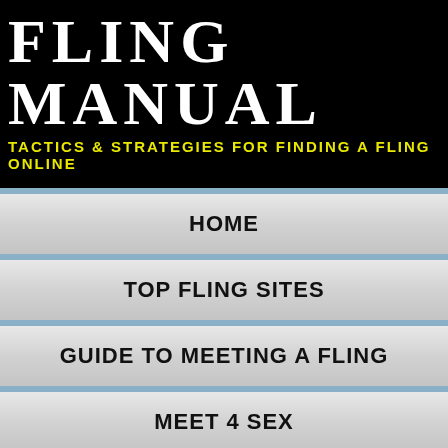FLING MANUAL
TACTICS & STRATEGIES FOR FINDING A FLING ONLINE
HOME
TOP FLING SITES
GUIDE TO MEETING A FLING
MEET 4 SEX
CASUAL DATING BLOG